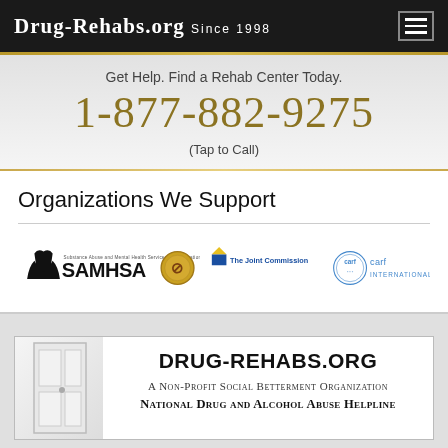Drug-Rehabs.org Since 1998
Get Help. Find a Rehab Center Today.
1-877-882-9275
(Tap to Call)
Organizations We Support
[Figure (logo): Logos of supported organizations: SAMHSA (Substance Abuse and Mental Health Services Administration), The Joint Commission, CARF International]
[Figure (infographic): Drug-Rehabs.org banner with door illustration. Text: DRUG-REHABS.ORG, A Non-Profit Social Betterment Organization, National Drug and Alcohol Abuse Helpline]